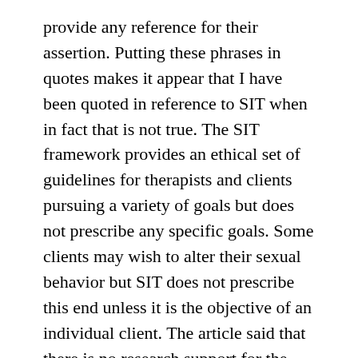provide any reference for their assertion. Putting these phrases in quotes makes it appear that I have been quoted in reference to SIT when in fact that is not true. The SIT framework provides an ethical set of guidelines for therapists and clients pursuing a variety of goals but does not prescribe any specific goals. Some clients may wish to alter their sexual behavior but SIT does not prescribe this end unless it is the objective of an individual client. The article said that there is no research support for the SIT framework and while it is true that we have no outcome studies as yet. It is misleading to portray it as being without research foundation. A review of the SIT framework will demonstrate that we have